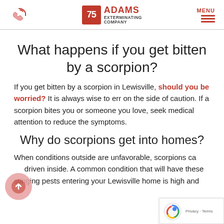Adams Exterminating Company — MENU
What happens if you get bitten by a scorpion?
If you get bitten by a scorpion in Lewisville, should you be worried? It is always wise to err on the side of caution. If a scorpion bites you or someone you love, seek medical attention to reduce the symptoms.
Why do scorpions get into homes?
When conditions outside are unfavorable, scorpions can be driven inside. A common condition that will have these stinging pests entering your Lewisville home is high and